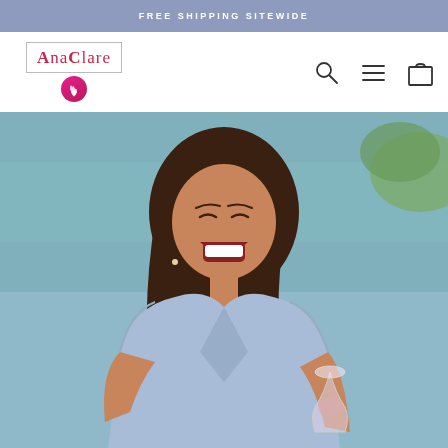FREE SHIPPING SITEWIDE
[Figure (logo): AnaClare brand logo with pink text in a bordered box and a pink circle below with a flame/candle icon]
[Figure (photo): A smiling woman with long dark hair, wearing a light blue sleeveless wrap top, laughing and holding a wine glass near a body of water]